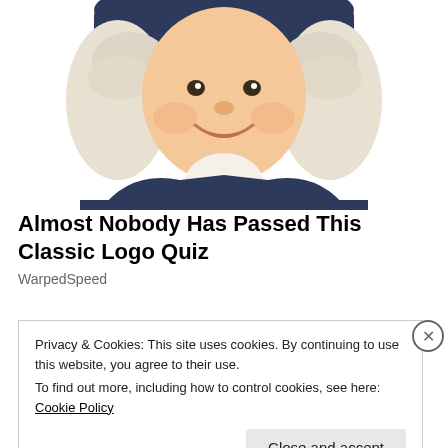[Figure (illustration): Quaker Oats man mascot illustration — a smiling man with white curly wig and dark blue colonial coat with white cravat, cropped from mid-chest up, on white background.]
Almost Nobody Has Passed This Classic Logo Quiz
WarpedSpeed
Privacy & Cookies: This site uses cookies. By continuing to use this website, you agree to their use.
To find out more, including how to control cookies, see here: Cookie Policy
Close and accept